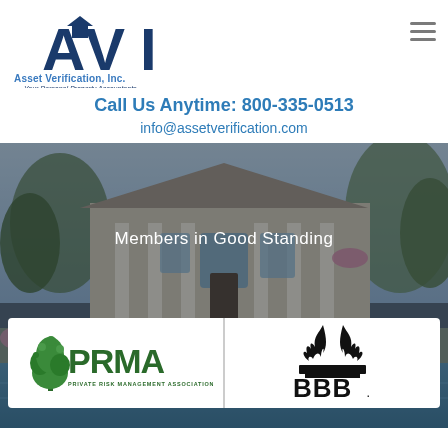[Figure (logo): AVI Asset Verification, Inc. logo with stylized AVI letters and house icon, tagline: Your Personal Property Accountants]
Call Us Anytime: 800-335-0513
info@assetverification.com
[Figure (photo): Background photo of a large luxury home with pool, columns, and landscaping, with dark overlay]
Members in Good Standing
[Figure (logo): PRMA Private Risk Management Association logo with tree graphic]
[Figure (logo): BBB Better Business Bureau logo with flame icons and BBB text]